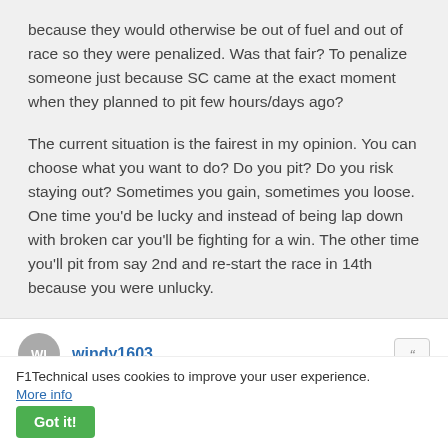because they would otherwise be out of fuel and out of race so they were penalized. Was that fair? To penalize someone just because SC came at the exact moment when they planned to pit few hours/days ago?
The current situation is the fairest in my opinion. You can choose what you want to do? Do you pit? Do you risk staying out? Sometimes you gain, sometimes you loose. One time you'd be lucky and instead of being lap down with broken car you'll be fighting for a win. The other time you'll pit from say 2nd and re-start the race in 14th because you were unlucky.
windy1603
06 Dec 2021, 23:19
Its only the tyres that most people have a problem with
F1Technical uses cookies to improve your user experience. More info